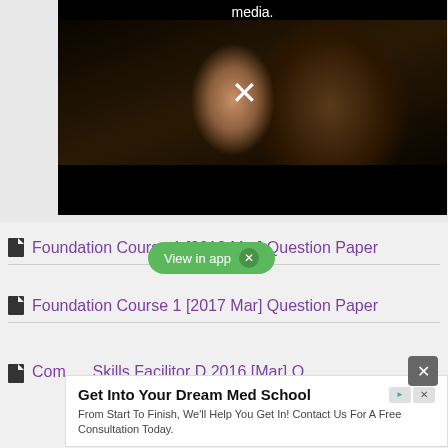[Figure (screenshot): Video player screenshot showing a woman in a dark cinema setting, with a white X close button centered on the video, black bars at top and bottom, and 'media.' text visible at top center.]
Foundation Course 1 [2018 Mar] Question Paper
Foundation Course 1 [2017 Mar] Question Paper
Communication Skills Facilitor D 2016 [Mar] Question Paper
Get Into Your Dream Med School
From Start To Finish, We'll Help You Get In! Contact Us For A Free Consultation Today.